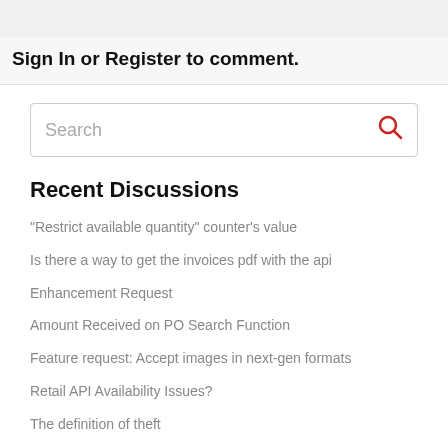Sign In or Register to comment.
[Figure (screenshot): Search input box with placeholder text 'Search' and a red search icon on the right]
Recent Discussions
"Restrict available quantity" counter's value
Is there a way to get the invoices pdf with the api
Enhancement Request
Amount Received on PO Search Function
Feature request: Accept images in next-gen formats
Retail API Availability Issues?
The definition of theft
Employee Sales Tracking
Employee Sales Tracking
Gift Cards Randomly Assigning a Number